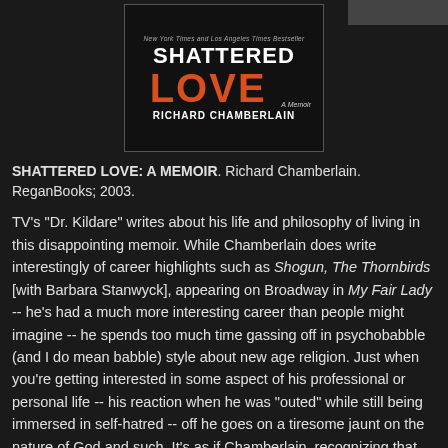[Figure (photo): Book cover of 'Shattered Love: A Memoir' by Richard Chamberlain. Black background with white bold text 'SHATTERED' and large orange/red 'LOVE', subtitle 'A Memoir', author name 'RICHARD CHAMBERLAIN' in white. Small text at top reads 'New York Times and Los Angeles Times Bestseller'.]
SHATTERED LOVE: A MEMOIR. Richard Chamberlain. ReganBooks; 2003.
TV's "Dr. Kildare" writes about his life and philosophy of living in this disappointing memoir. While Chamberlain does write interestingly of career highlights such as Shogun, The Thornbirds [with Barbara Stanwyck], appearing on Broadway in My Fair Lady -- he's had a much more interesting career than people might imagine -- he spends too much time gassing off in psychobabble (and I do mean babble) style about new age religion. Just when you're getting interested in some aspect of his professional or personal life -- his reaction when he was "outed" while still being immersed in self-hatred -- off he goes on a tiresome jaunt on the nature of God and such. It's as if Chamberlain, recognizing that he was essentially a good-looking, totally self-absorbed  actor,